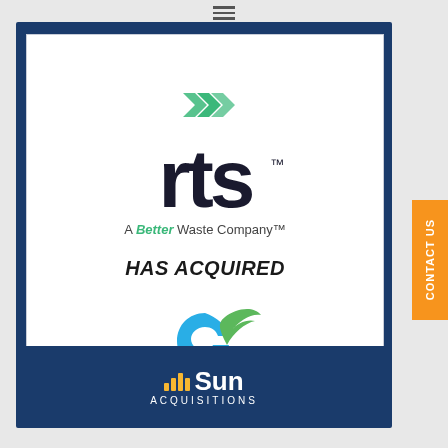[Figure (logo): RTS - A Better Waste Company logo with green chevron arrows and bold 'rts' text]
HAS ACQUIRED
[Figure (logo): Elytus logo with blue circular swirl and green leaf graphic, text 'elytus' on light blue background]
[Figure (logo): Sun Acquisitions logo with yellow bar chart icon and white text]
CONTACT US